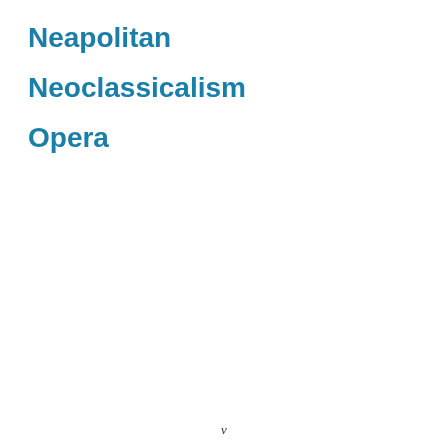Neapolitan
Neoclassicalism
Opera
v